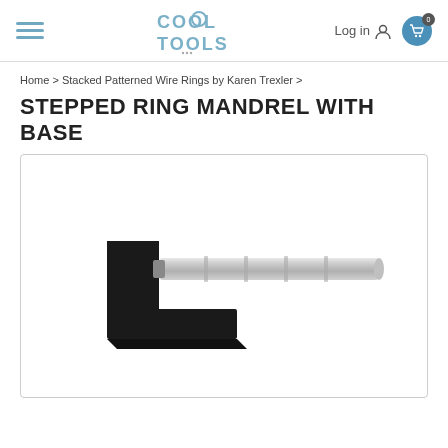[Figure (logo): Cool Tools logo with hamburger menu, login link, and cart icon in header]
Home > Stacked Patterned Wire Rings by Karen Trexler >
STEPPED RING MANDREL WITH BASE
[Figure (photo): A stepped ring mandrel with a black L-shaped base and a silver cylindrical mandrel rod extending horizontally to the right, photographed on white background.]